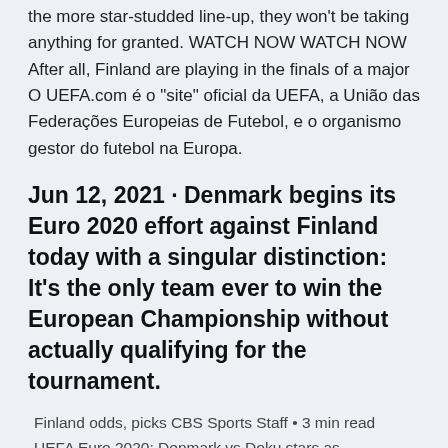the more star-studded line-up, they won't be taking anything for granted. WATCH NOW WATCH NOW After all, Finland are playing in the finals of a major O UEFA.com é o "site" oficial da UEFA, a União das Federações Europeias de Futebol, e o organismo gestor do futebol na Europa.
Jun 12, 2021 · Denmark begins its Euro 2020 effort against Finland today with a singular distinction: It's the only team ever to win the European Championship without actually qualifying for the tournament.
Finland odds, picks CBS Sports Staff • 3 min read UEFA Euro 2020: Denmark vs Doku stars as Netherlands romp home vs. Belarus Jeremy Doku